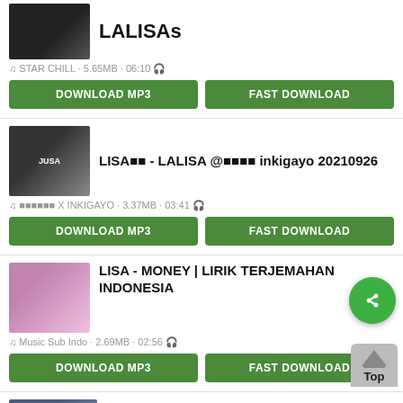[Figure (screenshot): Music download listing page showing song entries with thumbnails, titles, metadata, and download buttons]
LALISAs · STAR CHILL · 5.65MB · 06:10
LISA⬛⬛ - LALISA @⬛⬛⬛⬛ inkigayo 20210926 · ⬛⬛⬛⬛⬛⬛ X INKIGAYO · 3.37MB · 03:41
LISA - MONEY | LIRIK TERJEMAHAN INDONESIA · Music Sub Indo · 2.69MB · 02:56
LISA ⬛⬛ - MONEY EASY LYRICS · ⬛⬛LEMON · 2.61MB · 02:51
LISA - 'MONEY' x 'INDUSTRY BABY' Squid Game ARAB GOKIL | 2wumajeks